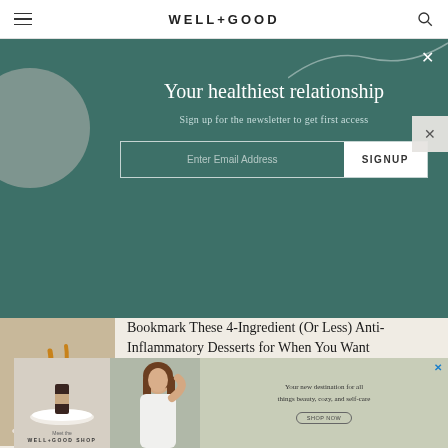WELL+GOOD
Your healthiest relationship
Sign up for the newsletter to get first access
Enter Email Address  SIGNUP
Bookmark These 4-Ingredient (Or Less) Anti-Inflammatory Desserts for When You Want Something...
[Figure (screenshot): Well+Good Shop advertisement banner showing a plate with product, a woman touching her hair, and text 'Your new destination for all things beauty, cozy, and self-care' with a shop now button]